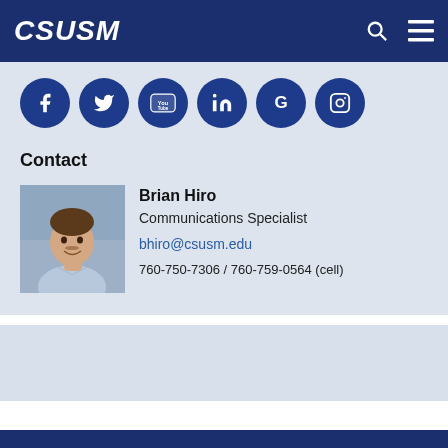CSUSM
[Figure (infographic): Six social media icons in dark blue circles: Facebook, Twitter, YouTube, LinkedIn, Google+, Instagram]
Contact
[Figure (photo): Headshot photo of Brian Hiro, a man in a light blue shirt outdoors]
Brian Hiro
Communications Specialist
bhiro@csusm.edu
760-750-7306 / 760-759-0564 (cell)